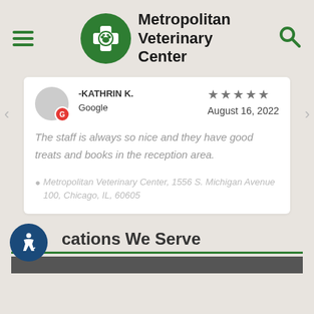[Figure (logo): Metropolitan Veterinary Center logo with green circle containing a paw print with a medical cross, hamburger menu icon on left, search icon on right]
-KATHRIN K.
Google
August 16, 2022
The staff is always so nice and they have good treats and books in the reception area.
Metropolitan Veterinary Center, 1556 S. Michigan Avenue 100, Chicago, IL, 60605
cations We Serve